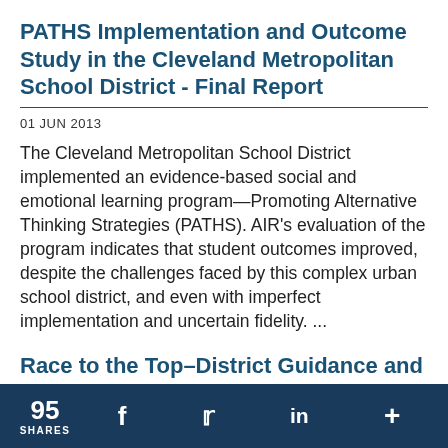PATHS Implementation and Outcome Study in the Cleveland Metropolitan School District - Final Report
01 JUN 2013
The Cleveland Metropolitan School District implemented an evidence-based social and emotional learning program—Promoting Alternative Thinking Strategies (PATHS). AIR's evaluation of the program indicates that student outcomes improved, despite the challenges faced by this complex urban school district, and even with imperfect implementation and uncertain fidelity. ...
Race to the Top–District Guidance and Action Brief
95 SHARES  f  [Twitter]  in  +